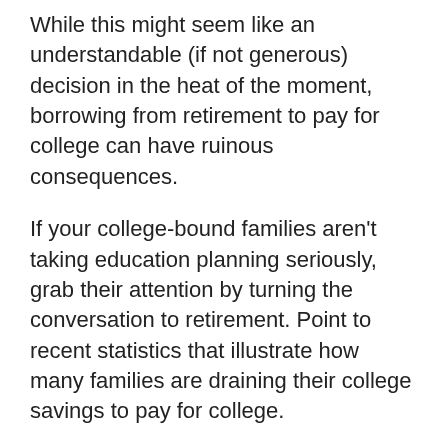While this might seem like an understandable (if not generous) decision in the heat of the moment, borrowing from retirement to pay for college can have ruinous consequences.
If your college-bound families aren't taking education planning seriously, grab their attention by turning the conversation to retirement. Point to recent statistics that illustrate how many families are draining their college savings to pay for college.
According to a new study by Sallie Mae, over 70 percent of families used their current income to pay for college last year, and 14 percent withdrew from their retirement funds (up 9 percent from 2019). Overall, 35 percent of all college-bound families tapped their savings and